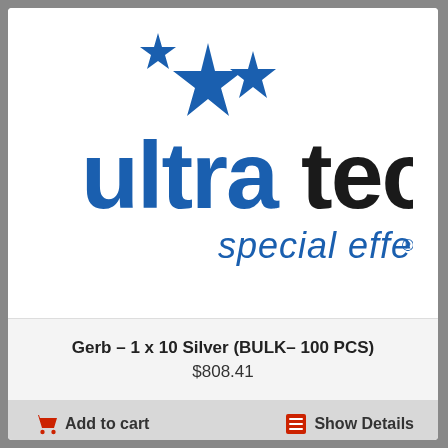[Figure (logo): Ultratec Special Effects logo — blue stars above text reading 'ultra' in blue and 'tec' in black, with 'special effects.' in blue below]
Gerb – 1 x 10 Silver (BULK– 100 PCS)
$808.41
Add to cart
Show Details